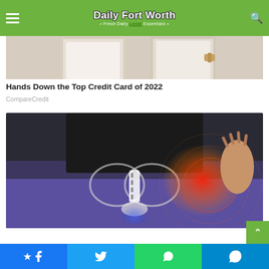Daily Fort Worth – Fresh Daily Local Essentials
[Figure (photo): Two people standing, likely a doctor-patient consultation, cropped to show torsos]
Hands Down the Top Credit Card of 2022
CompareCredit
[Figure (photo): Medical illustration of hip/pelvis area with pain highlighted in red, person wearing black top and purple pants]
[Figure (infographic): Social share buttons: Facebook, Twitter, WhatsApp, Telegram]